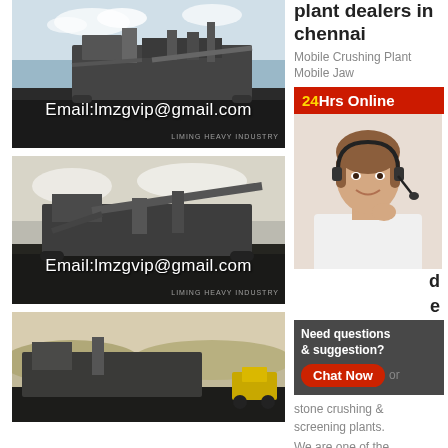[Figure (photo): Mobile crushing plant/machine outdoors with dark coal/gravel ground, sky background. Email:lmzgvip@gmail.com overlay text. LIMING HEAVY INDUSTRY watermark.]
[Figure (photo): Second mobile crushing/screening machine outdoors at dusk/cloudy sky. Email:lmzgvip@gmail.com overlay text. LIMING HEAVY INDUSTRY watermark.]
[Figure (photo): Third mobile crushing plant in arid/dusty terrain, partially visible.]
plant dealers in chennai
Mobile Crushing Plant Mobile Jaw
24Hrs Online
[Figure (photo): Customer service agent woman with headset smiling, wearing white shirt.]
d
e
Need questions & suggestion?
Chat Now
or stone crushing & screening plants.
We are one of the
Mobile Crusher On Rent at Rs 700000/month
██████
Innovative